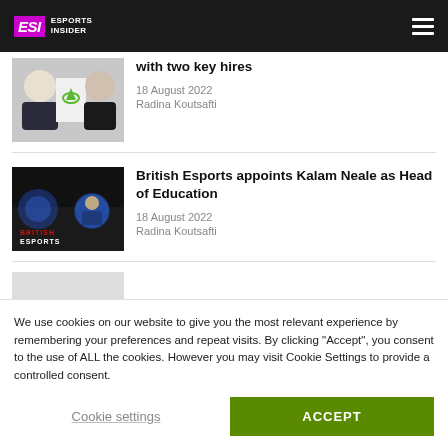ESI ESPORTS INSIDER
[Figure (photo): Two people and OpTic Gaming logo thumbnail]
with two key hires
18 August 2022
Radina Koutsafti
[Figure (photo): British Esports dark background with logo and circular portrait of Kalam Neale]
British Esports appoints Kalam Neale as Head of Education
18 August 2022
Radina Koutsafti
We use cookies on our website to give you the most relevant experience by remembering your preferences and repeat visits. By clicking “Accept”, you consent to the use of ALL the cookies. However you may visit Cookie Settings to provide a controlled consent.
Cookie settings
ACCEPT